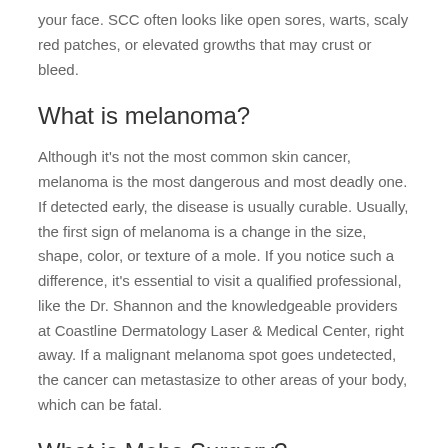your face. SCC often looks like open sores, warts, scaly red patches, or elevated growths that may crust or bleed.
What is melanoma?
Although it's not the most common skin cancer, melanoma is the most dangerous and most deadly one. If detected early, the disease is usually curable. Usually, the first sign of melanoma is a change in the size, shape, color, or texture of a mole. If you notice such a difference, it's essential to visit a qualified professional, like the Dr. Shannon and the knowledgeable providers at Coastline Dermatology Laser & Medical Center, right away. If a malignant melanoma spot goes undetected, the cancer can metastasize to other areas of your body, which can be fatal.
What is Mohs Surgery?